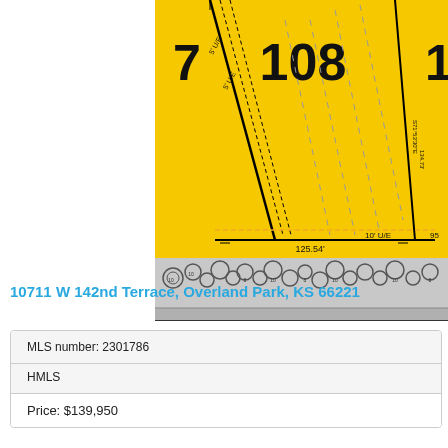[Figure (engineering-diagram): Plat map showing Lot 108, a yellow highlighted lot with boundary lines, easements marked as 5' U/E, setback lines, dimensions showing 125.54' frontage and 10' U/E, landscaping symbols along bottom edge, lot numbers 7, 108, 1 visible]
Lot 108   100' Wide at 30' Front Setback Line
[Figure (logo): Matt Adam Development logo: circular black badge with white trees and red base, with MATT ADAM DEVELOPMENT text]
10711 W 142nd Terrace, Overland Park, KS 66221
| MLS number: 2301786 |
| HMLS |
| Price: $139,950 |